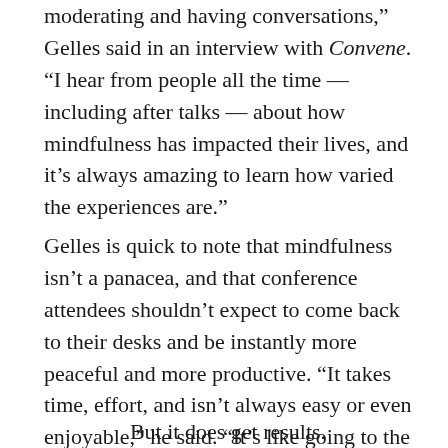moderating and having conversations, Gelles said in an interview with Convene. “I hear from people all the time — including after talks — about how mindfulness has impacted their lives, and it’s always amazing to learn how varied the experiences are.”
Gelles is quick to note that mindfulness isn’t a panacea, and that conference attendees shouldn’t expect to come back to their desks and be instantly more peaceful and more productive. “It takes time, effort, and isn’t always easy or even enjoyable,” he said. “It’s like going to the gym, but for your mind.”
But it does get results.